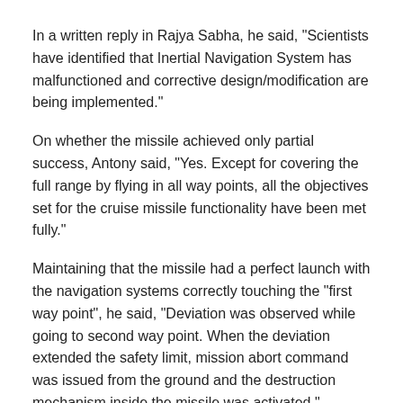In a written reply in Rajya Sabha, he said, "Scientists have identified that Inertial Navigation System has malfunctioned and corrective design/modification are being implemented."
On whether the missile achieved only partial success, Antony said, "Yes. Except for covering the full range by flying in all way points, all the objectives set for the cruise missile functionality have been met fully."
Maintaining that the missile had a perfect launch with the navigation systems correctly touching the "first way point", he said, "Deviation was observed while going to second way point. When the deviation extended the safety limit, mission abort command was issued from the ground and the destruction mechanism inside the missile was activated."
In reply to a separate question, the Minister said DRDO has proposed to set up a missile testing centre and a launch pad at Machilipatnam in Andhra Pradesh at an estimated cost of Rs 1200 crore.
"The proposal is at a very initial stage. So far, only proposal for